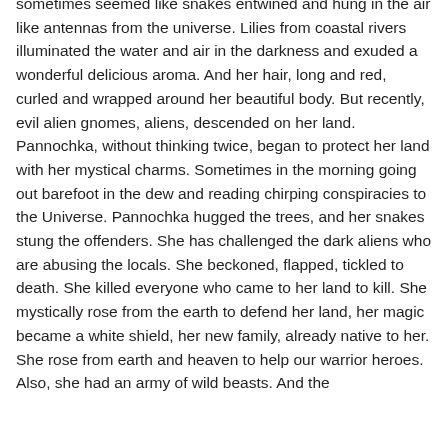sometimes seemed like snakes entwined and hung in the air like antennas from the universe. Lilies from coastal rivers illuminated the water and air in the darkness and exuded a wonderful delicious aroma. And her hair, long and red, curled and wrapped around her beautiful body. But recently, evil alien gnomes, aliens, descended on her land. Pannochka, without thinking twice, began to protect her land with her mystical charms. Sometimes in the morning going out barefoot in the dew and reading chirping conspiracies to the Universe. Pannochka hugged the trees, and her snakes stung the offenders. She has challenged the dark aliens who are abusing the locals. She beckoned, flapped, tickled to death. She killed everyone who came to her land to kill. She mystically rose from the earth to defend her land, her magic became a white shield, her new family, already native to her. She rose from earth and heaven to help our warrior heroes. Also, she had an army of wild beasts. And the